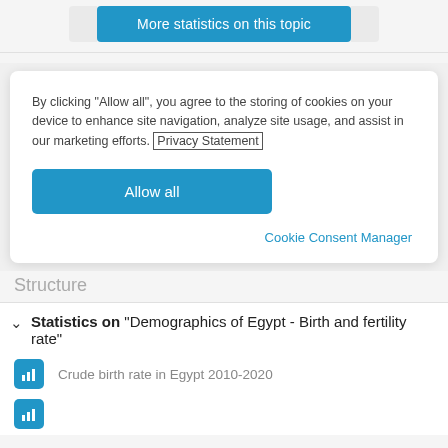[Figure (screenshot): Blue 'More statistics on this topic' button at top of page]
By clicking "Allow all", you agree to the storing of cookies on your device to enhance site navigation, analyze site usage, and assist in our marketing efforts. Privacy Statement
Allow all
Cookie Consent Manager
Structure
Statistics on "Demographics of Egypt - Birth and fertility rate"
Crude birth rate in Egypt 2010-2020